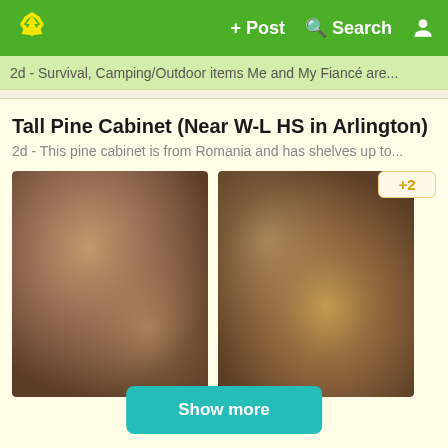+ Post   Search   [user icon]
2d - Survival, Camping/Outdoor items Me and My Fiancé are...
Tall Pine Cabinet (Near W-L HS in Arlington)
2d - This pine cabinet is from Romania and has shelves up to...
[Figure (photo): Two blurred/placeholder images of a pine cabinet, wooden brown tones. A '+2' badge is shown to the right of the second image.]
Show more